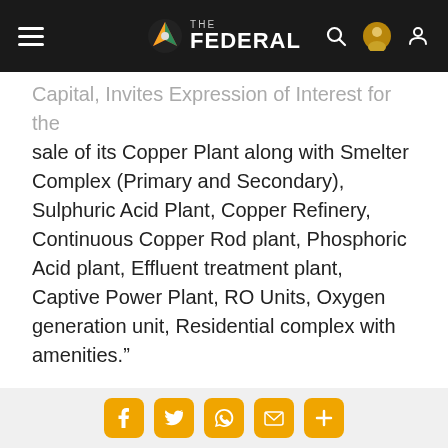THE FEDERAL
Capital, Invites Expression of Interest for the sale of its Copper Plant along with Smelter Complex (Primary and Secondary), Sulphuric Acid Plant, Copper Refinery, Continuous Copper Rod plant, Phosphoric Acid plant, Effluent treatment plant, Captive Power Plant, RO Units, Oxygen generation unit, Residential complex with amenities.”
Also Read: TN allows Vedanta to temporarily operate oxygen units at Thoothukudi
Social share icons: Facebook, Twitter, WhatsApp, Email, More